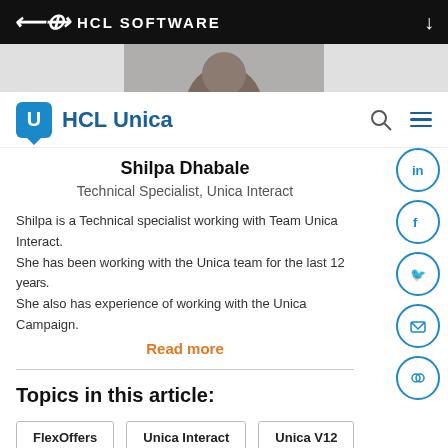HCL SOFTWARE
[Figure (photo): Partial photo of a person, cropped at top]
[Figure (logo): HCL Unica logo with blue U icon and search/menu icons]
Shilpa Dhabale
Technical Specialist, Unica Interact
Shilpa is a Technical specialist working with Team Unica Interact. She has been working with the Unica team for the last 12 y... She also has experience of working with the Unica Campaign.
Read more
Topics in this article:
FlexOffers
Unica Interact
Unica V12